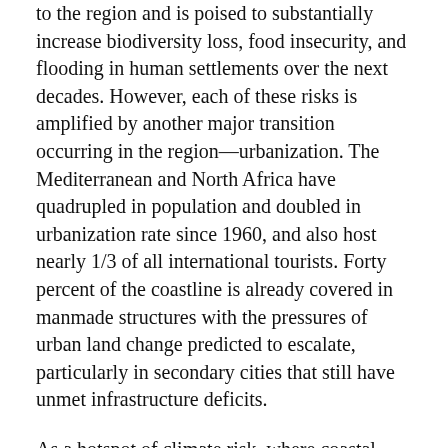Summary: Climate change poses a series of major contributions to the region and is poised to substantially increase biodiversity loss, food insecurity, and flooding in human settlements over the next decades. However, each of these risks is amplified by another major transition occurring in the region—urbanization. The Mediterranean and North Africa have quadrupled in population and doubled in urbanization rate since 1960, and also host nearly 1/3 of all international tourists. Forty percent of the coastline is already covered in manmade structures with the pressures of urban land change predicted to escalate, particularly in secondary cities that still have unmet infrastructure deficits.
As a hotspot of climate risk, where coastal urbanization increases the vulnerability of land systems to climate change impacts, there is an urgent need to better understand the where, how, and when of urban LCLUC surrounding the Mediterranean Sea as a step toward anticipating future impacts. Assessments of urban development across the entire coastal zone are still lacking, and in particular, some of the more vulnerable and resource-limited countries in the region have been insufficiently studied. A multi-faceted, pan-Mediterranean